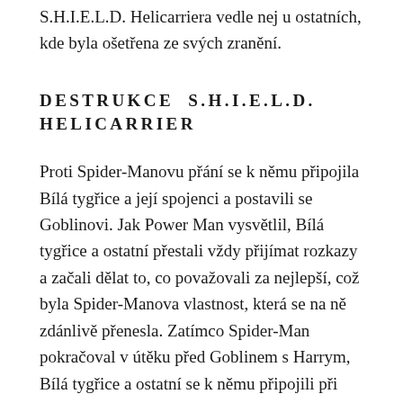S.H.I.E.L.D. Helicarriera vedle nej u ostatních, kde byla ošetřena ze svých zranění.
DESTRUKCE S.H.I.E.L.D. HELICARRIER
Proti Spider-Manovu přání se k němu připojila Bílá tygřice a její spojenci a postavili se Goblinovi. Jak Power Man vysvětlil, Bílá tygřice a ostatní přestali vždy přijímat rozkazy a začali dělat to, co považovali za nejlepší, což byla Spider-Manova vlastnost, která se na ně zdánlivě přenesla. Zatímco Spider-Man pokračoval v útěku před Goblinem s Harrym, Bílá tygřice a ostatní se k němu připojili při jeho evakuaci. Poté, co Luke a Spider-Man úspěšně